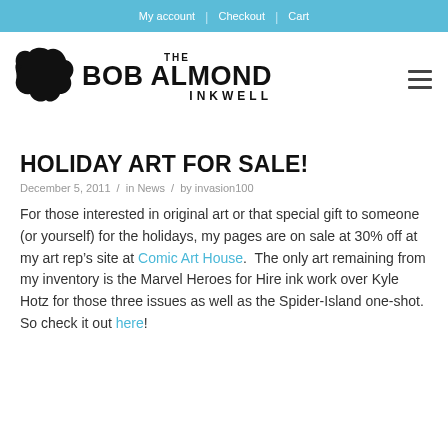My account | Checkout | Cart
[Figure (logo): The Bob Almond Inkwell logo with ink blot graphic and stylized text]
HOLIDAY ART FOR SALE!
December 5, 2011 / in News / by invasion100
For those interested in original art or that special gift to someone (or yourself) for the holidays, my pages are on sale at 30% off at my art rep’s site at Comic Art House.  The only art remaining from my inventory is the Marvel Heroes for Hire ink work over Kyle Hotz for those three issues as well as the Spider-Island one-shot. So check it out here!